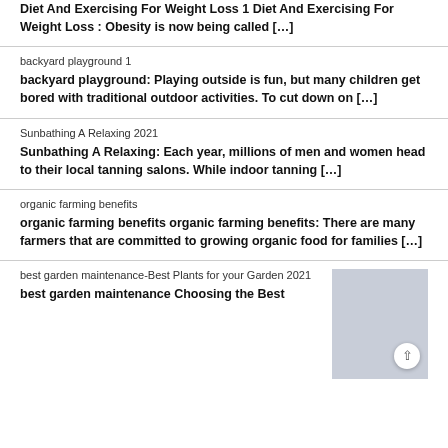Diet And Exercising For Weight Loss 1 Diet And Exercising For Weight Loss : Obesity is now being called […]
backyard playground 1
backyard playground: Playing outside is fun, but many children get bored with traditional outdoor activities. To cut down on […]
Sunbathing A Relaxing 2021
Sunbathing A Relaxing: Each year, millions of men and women head to their local tanning salons. While indoor tanning […]
organic farming benefits
organic farming benefits organic farming benefits: There are many farmers that are committed to growing organic food for families […]
best garden maintenance-Best Plants for your Garden 2021
best garden maintenance Choosing the Best
[Figure (photo): Gray placeholder image for best garden maintenance article]